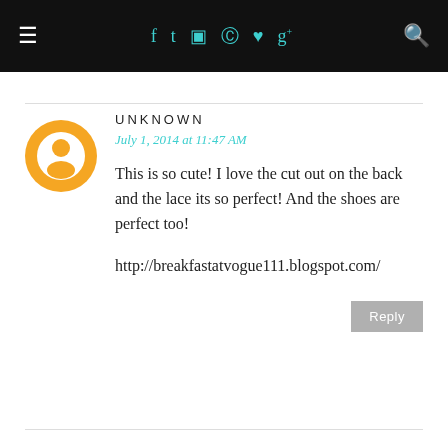≡  f  t  ◻  ⊕  ♥  g+  🔍
UNKNOWN
July 1, 2014 at 11:47 AM
This is so cute! I love the cut out on the back and the lace its so perfect! And the shoes are perfect too!
http://breakfastatvogue111.blogspot.com/